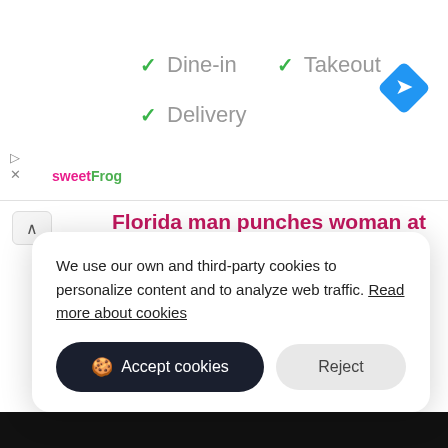[Figure (screenshot): sweetFrog logo in pink and green text]
✓ Dine-in
✓ Takeout
✓ Delivery
[Figure (logo): Blue diamond navigation/directions icon]
Florida man punches woman at Publix because she gave him the ...
A Cape Coral man, and retired police officer, was arrested after he admitted to punching a woman inside the Florida man punches woman at Publix because she gave him the middle finger, by NBC2
We use our own and third-party cookies to personalize content and to analyze web traffic. Read more about cookies
Accept cookies
Reject